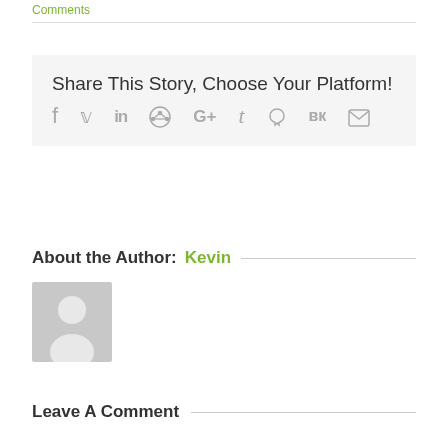Comments
Share This Story, Choose Your Platform!
[Figure (other): Social media sharing icons: Facebook, Twitter, LinkedIn, Reddit, Google+, Tumblr, Pinterest, VK, Email]
About the Author: Kevin
[Figure (photo): Default user avatar placeholder - grey silhouette of a person]
Leave A Comment